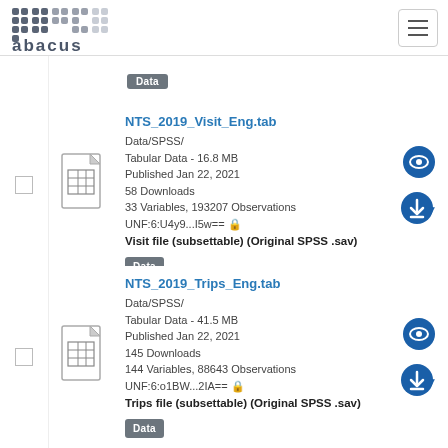Abacus
[Figure (other): Abacus logo - stylized grid of colored dots forming letters 'abacus']
Data
NTS_2019_Visit_Eng.tab
Data/SPSS/
Tabular Data - 16.8 MB
Published Jan 22, 2021
58 Downloads
33 Variables, 193207 Observations
UNF:6:U4y9...I5w==
Visit file (subsettable) (Original SPSS .sav)
Data
NTS_2019_Trips_Eng.tab
Data/SPSS/
Tabular Data - 41.5 MB
Published Jan 22, 2021
145 Downloads
144 Variables, 88643 Observations
UNF:6:o1BW...2IA==
Trips file (subsettable) (Original SPSS .sav)
Data